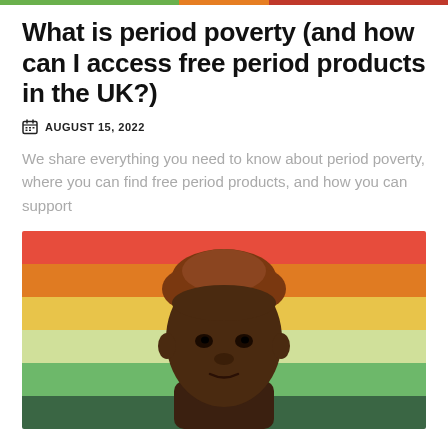What is period poverty (and how can I access free period products in the UK?)
AUGUST 15, 2022
We share everything you need to know about period poverty, where you can find free period products, and how you can support
[Figure (photo): A young Black man with short curly auburn hair photographed in front of a rainbow-striped flag background. The image is cropped at approximately chest level.]